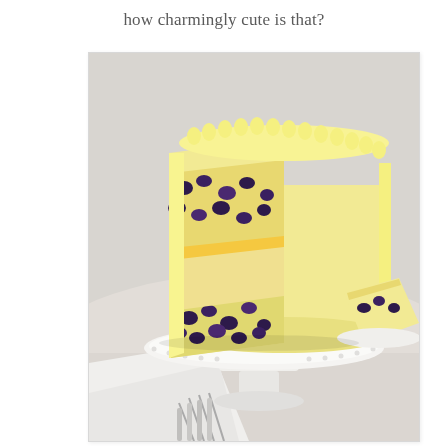how charmingly cute is that?
[Figure (photo): A layered blueberry lemon cake on a white cake stand, cut open to reveal layers of sponge cake with blueberry filling and lemon curd, frosted with yellow buttercream and decorative piped border on top. A slice is plated on a white dish in the background, and silver forks with a white napkin are in the foreground.]